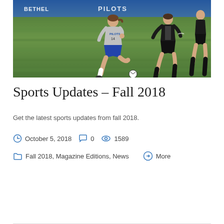[Figure (photo): Soccer players on a green field. A player in a gray Pilots jersey and blue shorts runs with the ball, chased by a player in black and white. Blue banner with 'Bethel' text visible in background.]
Sports Updates – Fall 2018
Get the latest sports updates from fall 2018.
October 5, 2018   0   1589
Fall 2018, Magazine Editions, News   More